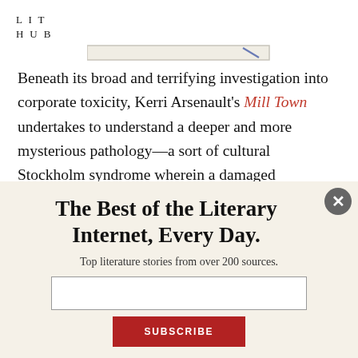LIT
HUB
[Figure (illustration): Partial view of a book cover bar — a horizontal rectangle suggesting a book spine, with a small diagonal blue mark]
Beneath its broad and terrifying investigation into corporate toxicity, Kerri Arsenault's Mill Town undertakes to understand a deeper and more mysterious pathology—a sort of cultural Stockholm syndrome wherein a damaged population somehow learns to love its injury
The Best of the Literary Internet, Every Day.
Top literature stories from over 200 sources.
[email input field]
SUBSCRIBE